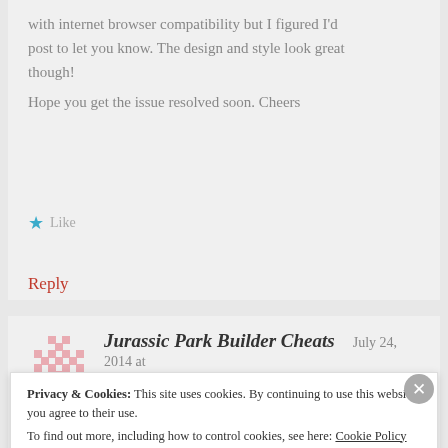with internet browser compatibility but I figured I'd post to let you know. The design and style look great though!
Hope you get the issue resolved soon. Cheers
★ Like
Reply
Jurassic Park Builder Cheats   July 24, 2014 at 8:34 AM
Privacy & Cookies:  This site uses cookies. By continuing to use this website, you agree to their use.
To find out more, including how to control cookies, see here: Cookie Policy
Close and accept